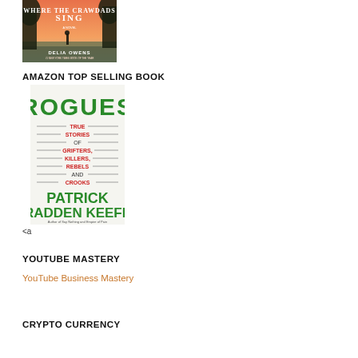[Figure (photo): Book cover of 'Where the Crawdads Sing' by Delia Owens — orange/sunset background with trees and a silhouette]
AMAZON TOP SELLING BOOK
[Figure (photo): Book cover of 'Rogues: True Stories of Grifters, Killers, Rebels and Crooks' by Patrick Radden Keefe — green and red text on white background with height-chart styling]
<a
YOUTUBE MASTERY
YouTube Business Mastery
CRYPTO CURRENCY